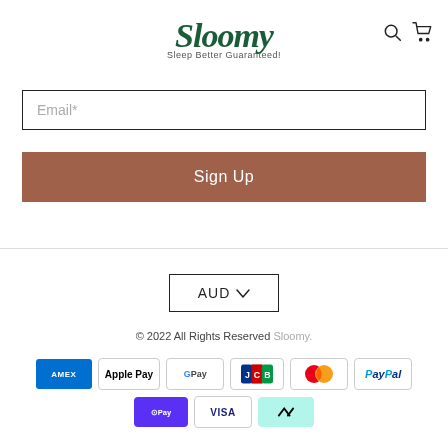[Figure (logo): Sloomy logo with tagline 'Sleep Better Guaranteed!' in dark green script font]
Email*
Sign Up
AUD
© 2022 All Rights Reserved Sloomy.
[Figure (other): Payment method icons: American Express, Apple Pay, Google Pay, JCB, Mastercard, PayPal, Shop Pay, Visa, Afterpay]